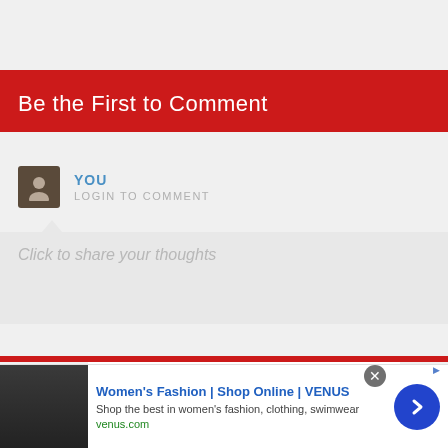Be the First to Comment
YOU
LOGIN TO COMMENT
Click to share your thoughts
[Figure (screenshot): Advertisement: Women's Fashion | Shop Online | VENUS. Shop the best in women's fashion, clothing, swimwear. venus.com]